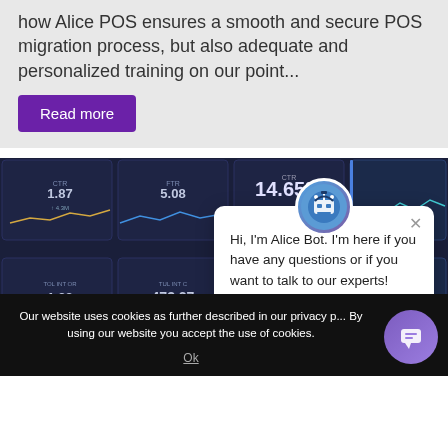how Alice POS ensures a smooth and secure POS migration process, but also adequate and personalized training on our point...
Read more
[Figure (screenshot): Dashboard screenshot showing analytics metrics including CTR 14.65% and value 473.27 on dark background panels]
Hi, I'm Alice Bot. I'm here if you have any questions or if you want to talk to our experts!
Our website uses cookies as further described in our privacy p... By using our website you accept the use of cookies.
Ok